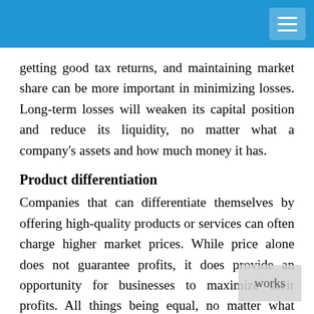getting good tax returns, and maintaining market share can be more important in minimizing losses. Long-term losses will weaken its capital position and reduce its liquidity, no matter what a company's assets and how much money it has.
Product differentiation
Companies that can differentiate themselves by offering high-quality products or services can often charge higher market prices. While price alone does not guarantee profits, it does provide an opportunity for businesses to maximize their profits. All things being equal, no matter what price companies charge for the superior quality of their products or services, more profit can be expected. The differentiation strategy only works if companies have a target market in which customers are less